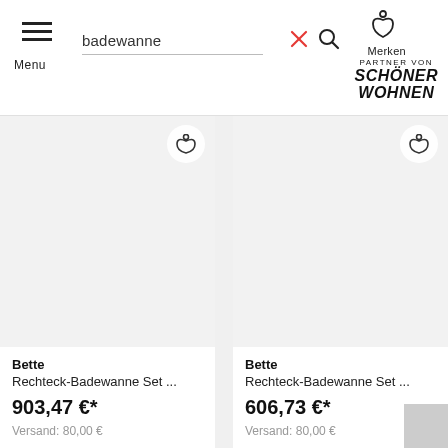[Figure (screenshot): Menu hamburger icon with three horizontal lines]
Menu
badewanne
[Figure (illustration): Red X clear button and magnifying glass search icon]
[Figure (illustration): Heart/bookmark icon labeled Merken]
Merken
PARTNER VON SCHÖNER WOHNEN
[Figure (other): Product card 1: Bette Rechteck-Badewanne with heart button, gray image placeholder]
Bette
Rechteck-Badewanne Set ...
903,47 €*
Versand: 80,00 €
[Figure (other): Product card 2: Bette Rechteck-Badewanne with heart button, gray image placeholder]
Bette
Rechteck-Badewanne Set ...
606,73 €*
Versand: 80,00 €